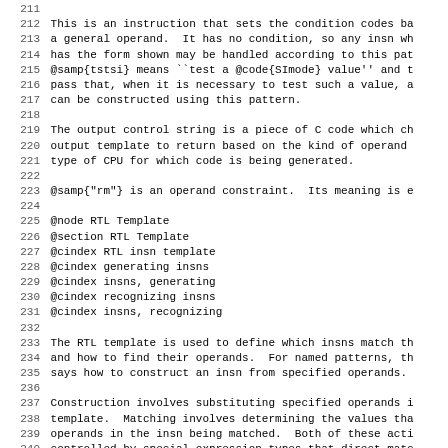211
212 This is an instruction that sets the condition codes ba
213 a general operand.  It has no condition, so any insn wh
214 has the form shown may be handled according to this pat
215 @samp{tstsi} means ``test a @code{SImode} value'' and t
216 pass that, when it is necessary to test such a value, a
217 can be constructed using this pattern.
218
219 The output control string is a piece of C code which ch
220 output template to return based on the kind of operand
221 type of CPU for which code is being generated.
222
223 @samp{"rm"} is an operand constraint.  Its meaning is e
224
225 @node RTL Template
226 @section RTL Template
227 @cindex RTL insn template
228 @cindex generating insns
229 @cindex insns, generating
230 @cindex recognizing insns
231 @cindex insns, recognizing
232
233 The RTL template is used to define which insns match th
234 and how to find their operands.  For named patterns, th
235 says how to construct an insn from specified operands.
236
237 Construction involves substituting specified operands i
238 template.  Matching involves determining the values tha
239 operands in the insn being matched.  Both of these acti
240 controlled by special expression types that direct matc
241 substitution of the operands.
242